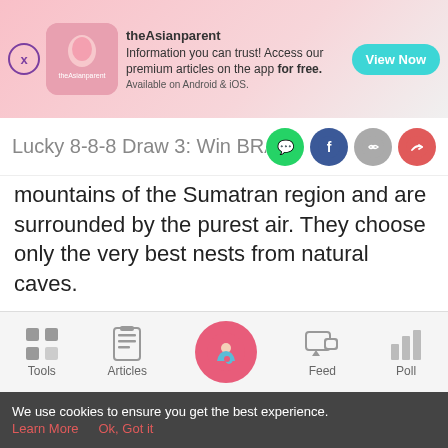[Figure (screenshot): theAsianparent app advertisement banner with logo, tagline 'Information you can trust! Access our premium articles on the app for free. Available on Android & iOS.' and a teal 'View Now' button]
Lucky 8-8-8 Draw 3: Win BRAND'S p
mountains of the Sumatran region and are surrounded by the purest air. They choose only the very best nests from natural caves.
What you'll get:
x1 pack BRAND'S Royal superior Bird's Nest with rock
[Figure (screenshot): Bottom navigation bar with Tools, Articles, home (pregnant woman icon), Feed, and Poll icons]
We use cookies to ensure you get the best experience. Learn More   Ok, Got it